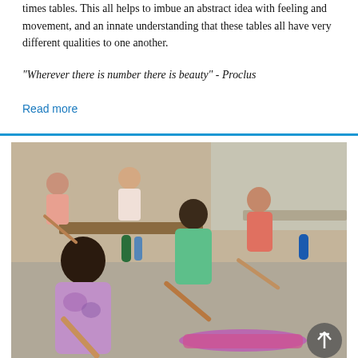times tables. This all helps to imbue an abstract idea with feeling and movement, and an innate understanding that these tables all have very different qualities to one another.
“Wherever there is number there is beauty” - Proclus
Read more
[Figure (photo): Children in a classroom sitting on the floor and playing wooden recorders/flutes. Several children are visible, with a girl in a green floral dress and another in a tie-dye shirt prominently in the foreground.]